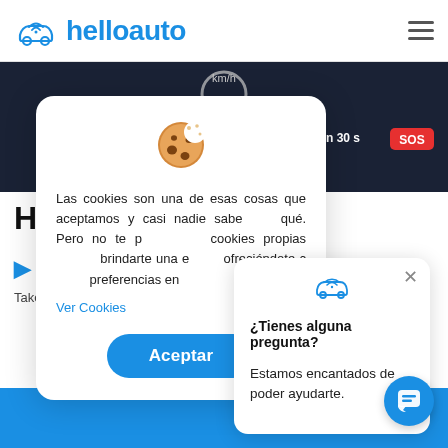[Figure (logo): helloauto logo with car wifi icon in blue]
[Figure (screenshot): Car dashboard display showing km/h, 0.00 km, 06 min 30 s, and SOS button]
How
Ste
Take out s
[Figure (screenshot): Cookie consent modal with cookie emoji, Spanish text about cookies policy, Ver Cookies link, and Aceptar button]
[Figure (screenshot): Chat popup widget with helloauto logo, message '¿Tienes alguna pregunta? Estamos encantados de poder ayudarte.' and close button]